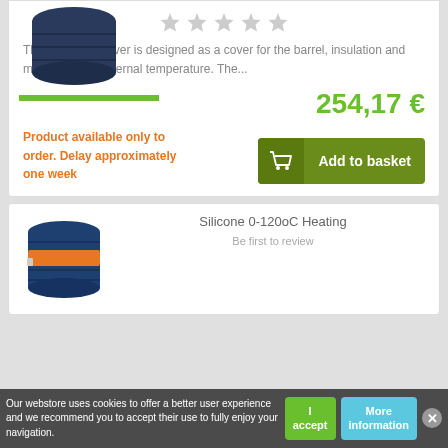[Figure (photo): Dark blue insulating barrel cover product image with green progress bar below]
[Figure (other): Five grey star rating icons]
The insulating cover is designed as a cover for the barrel, insulation and maintaining its internal temperature. The...
254,17 €
Product available only to order. Delay approximately one week
Add to basket
Silicone 0-120oC Heating
Be first to review
[Figure (photo): Blue barrel drum with orange silicone heating band]
Our webstore uses cookies to offer a better user experience and we recommend you to accept their use to fully enjoy your navigation.
I accept
More information